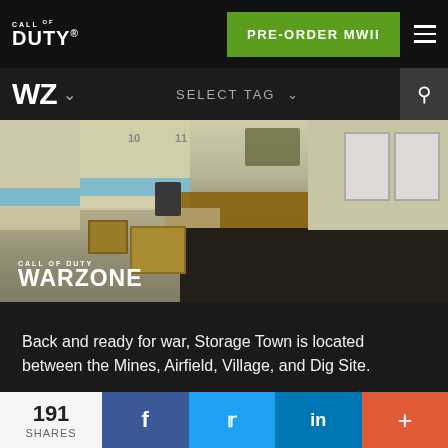CALL OF DUTY® — PRE-ORDER MWII
WZ ∨   SELECT TAG ∨   🔍
[Figure (screenshot): Overhead/isometric view of Storage Town map from Call of Duty Warzone — industrial area with crates, fence, garage doors, numbered buildings. CALL OF DUTY / WARZONE logo overlay bottom-left.]
Back and ready for war, Storage Town is located between the Mines, Airfield, Village, and Dig Site.
The lockers, water tower, and central buildings are similar to how they were in the past (or, canonically, the future). However, because it is built on the side of a hill, this version
191 SHARES   f   🐦   in   +